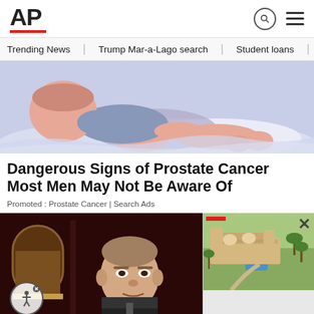AP
Trending News
Trump Mar-a-Lago search
Student loans
U.S.
[Figure (illustration): Medical illustration showing a person lying in bed, suggesting illness or rest, soft color background]
Dangerous Signs of Prostate Cancer Most Men May Not Be Aware Of
Promoted : Prostate Cancer | Search Ads
[Figure (photo): News photo showing a man in a suit in a formal setting with dark wood paneling, and an overlaid popup showing an aerial photo of Mar-a-Lago estate]
[Figure (photo): Aerial photo popup of Mar-a-Lago estate with close button X]